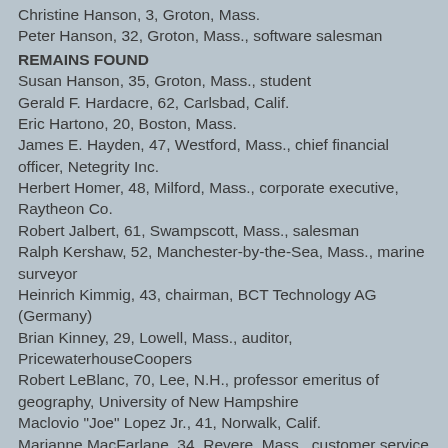Christine Hanson, 3, Groton, Mass.
Peter Hanson, 32, Groton, Mass., software salesman
REMAINS FOUND
Susan Hanson, 35, Groton, Mass., student
Gerald F. Hardacre, 62, Carlsbad, Calif.
Eric Hartono, 20, Boston, Mass.
James E. Hayden, 47, Westford, Mass., chief financial officer, Netegrity Inc.
Herbert Homer, 48, Milford, Mass., corporate executive, Raytheon Co.
Robert Jalbert, 61, Swampscott, Mass., salesman
Ralph Kershaw, 52, Manchester-by-the-Sea, Mass., marine surveyor
Heinrich Kimmig, 43, chairman, BCT Technology AG (Germany)
Brian Kinney, 29, Lowell, Mass., auditor, PricewaterhouseCoopers
Robert LeBlanc, 70, Lee, N.H., professor emeritus of geography, University of New Hampshire
Maclovio "Joe" Lopez Jr., 41, Norwalk, Calif.
Marianne MacFarlane, 34, Revere, Mass., customer service representative,